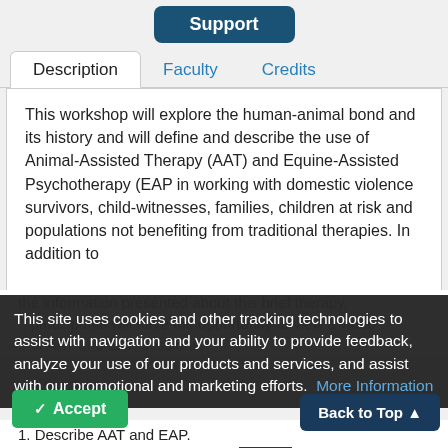Support
Description | Faculty | Credits
This workshop will explore the human-animal bond and its history and will define and describe the use of Animal-Assisted Therapy (AAT) and Equine-Assisted Psychotherapy (EAP in working with domestic violence survivors, child-witnesses, families, children at risk and populations not benefiting from traditional therapies. In addition to the information presented about this brief therapy, participants will have the opportunity to view a video of AAT and EAP sessions.
This site uses cookies and other tracking technologies to assist with navigation and your ability to provide feedback, analyze your use of our products and services, and assist with our promotional and marketing efforts.
Describe AAT and EAP.
scribe how AAT and EAP are b
increase the effectiveness of psychotherapy